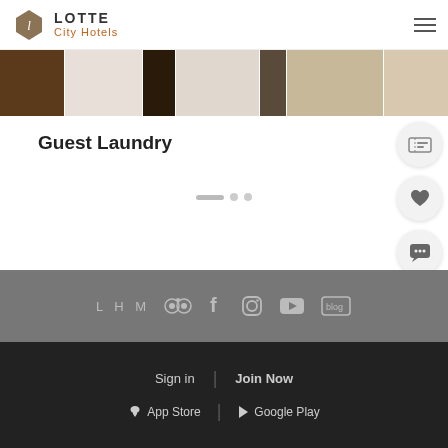Lotte City Hotels
[Figure (photo): Hotel laundry facility interior photo strip showing washing machines and room]
Guest Laundry
[Figure (other): Carousel navigation dots: one long pill and two small circles]
[Figure (other): Side action buttons: coupon/ticket icon, heart/favorite icon, chat/message icon, scroll-to-top arrow icon]
LHM social media icons: TripAdvisor, Facebook, Instagram, YouTube, Blog
Sign in | Join Now | App Store | Google Play